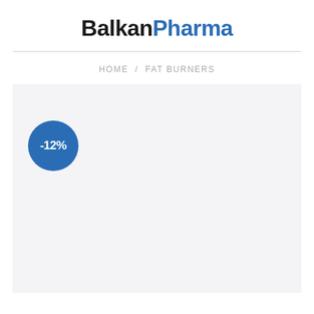BalkanPharma
HOME / FAT BURNERS
[Figure (other): Product listing area with a blue circular discount badge showing -12% on a light grey background]